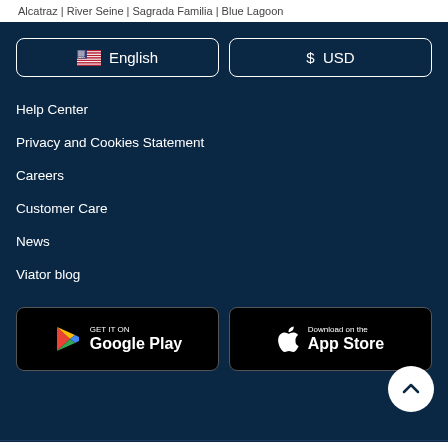Alcatraz | River Seine | Sagrada Familia | Blue Lagoon
English (language selector button)
$ USD (currency selector button)
Help Center
Privacy and Cookies Statement
Careers
Customer Care
News
Viator blog
[Figure (logo): Google Play store download button]
[Figure (logo): Apple App Store download button]